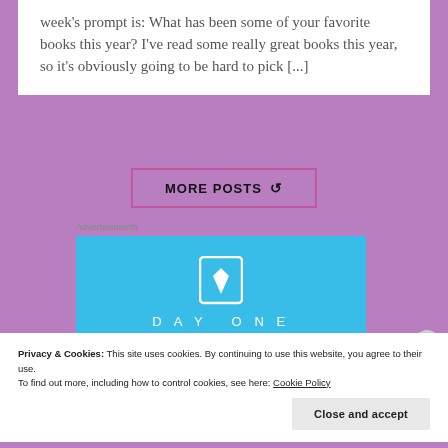week's prompt is: What has been some of your favorite books this year? I've read some really great books this year, so it's obviously going to be hard to pick [...]
MORE POSTS ↻
Advertisements
[Figure (logo): Day One app advertisement banner — blue background with white bookmark icon and DAY ONE lettering in spaced caps]
Privacy & Cookies: This site uses cookies. By continuing to use this website, you agree to their use.
To find out more, including how to control cookies, see here: Cookie Policy
Close and accept